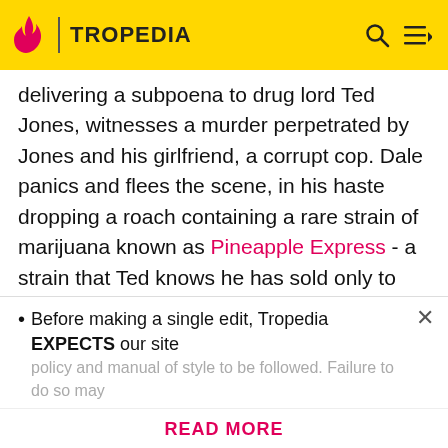TROPEDIA
delivering a subpoena to drug lord Ted Jones, witnesses a murder perpetrated by Jones and his girlfriend, a corrupt cop. Dale panics and flees the scene, in his haste dropping a roach containing a rare strain of marijuana known as Pineapple Express - a strain that Ted knows he has sold only to Dale's dealer. Now, on the run from Ted's people and the cops alike, Dale and his dealer know all too well that this is more than weed-induced paranoia - everyone apparently is out to get them both.
Pineapple Express contains examples of:
Before making a single edit, Tropedia EXPECTS our site policy and manual of style to be followed. Failure to do so may
READ MORE